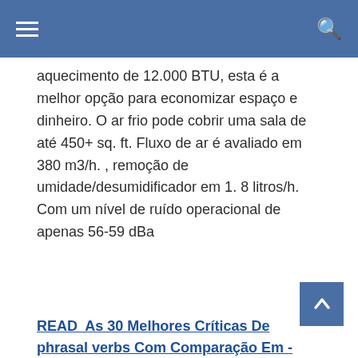aquecimento de 12.000 BTU, esta é a melhor opção para economizar espaço e dinheiro. O ar frio pode cobrir uma sala de até 450+ sq. ft. Fluxo de ar é avaliado em 380 m3/h. , remoção de umidade/desumidificador em 1. 8 litros/h. Com um nível de ruído operacional de apenas 56-59 dBa
READ  As 30 Melhores Críticas De phrasal verbs Com Comparação Em - 2022